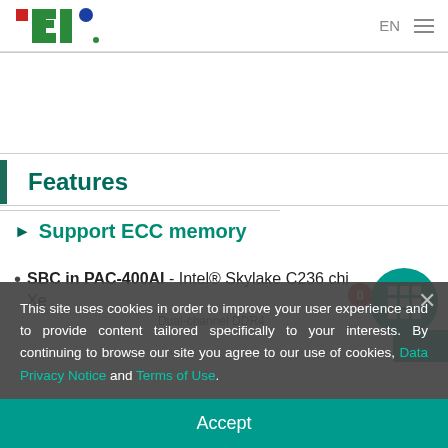IEI EN (navigation bar)
Features
► Support ECC memory
SBC in PAC-400AI - Intel® Skylake C236 chipset Xeon
Dual-channel DDR4
This site uses cookies in order to improve your user experience and to provide content tailored specifically to your interests. By continuing to browse our site you agree to our use of cookies, Data Privacy Notice and Terms of Use.
Accept